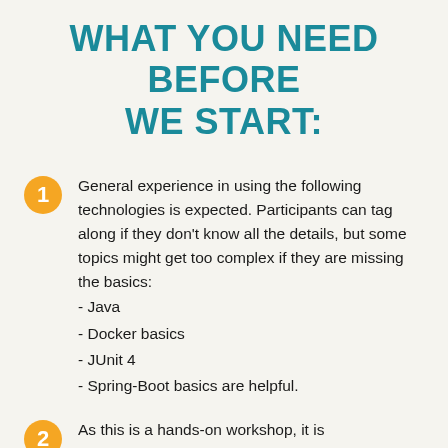WHAT YOU NEED BEFORE WE START:
General experience in using the following technologies is expected. Participants can tag along if they don't know all the details, but some topics might get too complex if they are missing the basics:
- Java
- Docker basics
- JUnit 4
- Spring-Boot basics are helpful.
As this is a hands-on workshop, it is